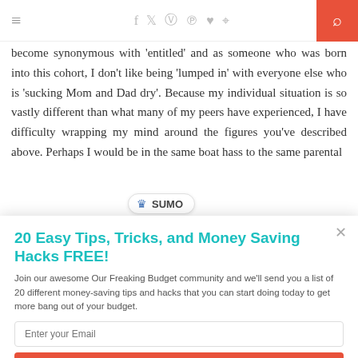≡  f  𝕏  📷  𝗽  ♥  ⌂  🔍
become synonymous with 'entitled' and as someone who was born into this cohort, I don't like being 'lumped in' with everyone else who is 'sucking Mom and Dad dry'. Because my individual situation is so vastly different than what many of my peers have experienced, I have difficulty wrapping my mind around the figures you've described above. Perhaps I would be in the same boat ha... ss to the same parental
20 Easy Tips, Tricks, and Money Saving Hacks FREE!
Join our awesome Our Freaking Budget community and we'll send you a list of 20 different money-saving tips and hacks that you can start doing today to get more bang out of your budget.